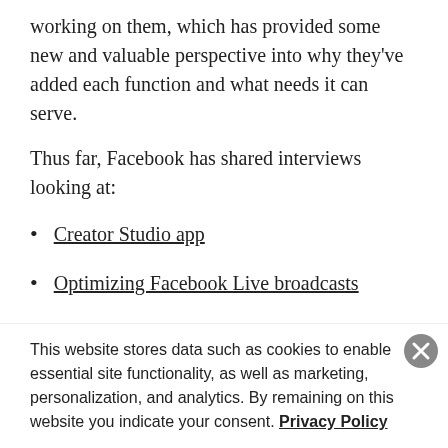working on them, which has provided some new and valuable perspective into why they've added each function and what needs it can serve.
Thus far, Facebook has shared interviews looking at:
Creator Studio app
Optimizing Facebook Live broadcasts
Live Producer
Using music in uploaded videos
Video insights in Creator Studio
The latest video in the series, published this week, looks at video playback and views, and the metrics Facebook can help video creators maximize their exposure and
This website stores data such as cookies to enable essential site functionality, as well as marketing, personalization, and analytics. By remaining on this website you indicate your consent. Privacy Policy